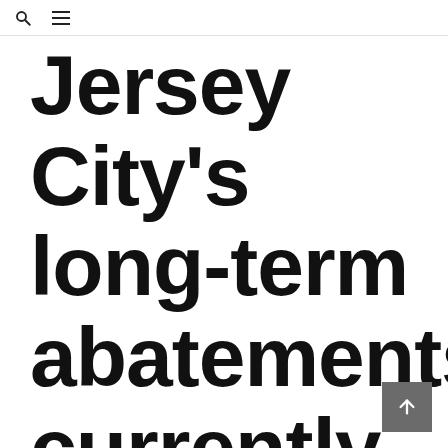🔍 ≡
Jersey City's long-term abatements currently located?